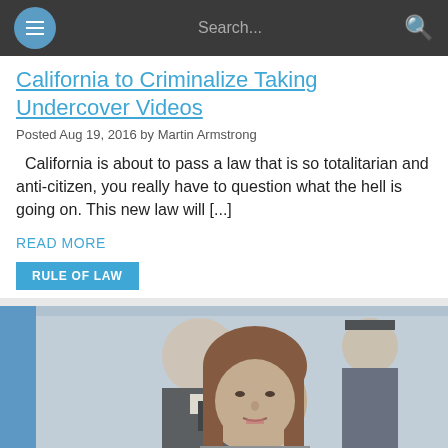Navigation bar with menu and search
California to Criminalize Taking Undercover Videos
Posted Aug 19, 2016 by Martin Armstrong
California is about to pass a law that is so totalitarian and anti-citizen, you really have to question what the hell is going on. This new law will [...]
READ MORE
RULE OF LAW
[Figure (photo): Photograph of two people standing outdoors — a man in a dark suit in the background and a woman with brown hair in the foreground, with a uniformed officer visible behind them.]